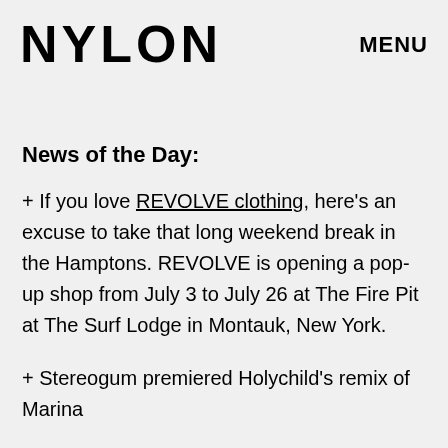NYLON   MENU
News of the Day:
+ If you love REVOLVE clothing, here's an excuse to take that long weekend break in the Hamptons. REVOLVE is opening a pop-up shop from July 3 to July 26 at The Fire Pit at The Surf Lodge in Montauk, New York.
+ Stereogum premiered Holychild's remix of Marina